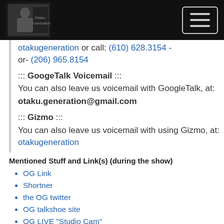[Figure (logo): OtakuGeneration logo image in dark header bar with hamburger menu icon on right]
otakugeneration or call: (610) 628.3154 - or- (206) 965.8154
::: GoogeTalk Voicemail :::
You can also leave us voicemail with GoogleTalk, at:
otaku.generation@gmail.com
::: Gizmo :::
You can also leave us voicemail with using Gizmo, at: otakugeneration
Mentioned Stuff and Link(s) (during the show)
OG Link
Shortner
the OG twitter
OG talkshoe site
OG LIVE "Studio Cam"